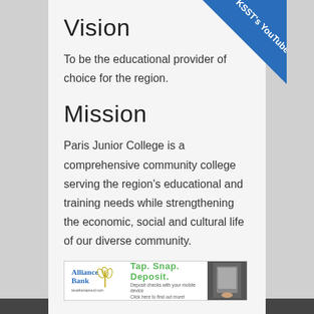Vision
To be the educational provider of choice for the region.
Mission
Paris Junior College is a comprehensive community college serving the region's educational and training needs while strengthening the economic, social and cultural life of our diverse community.
[Figure (other): Alliance Bank advertisement banner: Tap. Snap. Deposit. Deposit checks with your mobile device. Click here to find out more!]